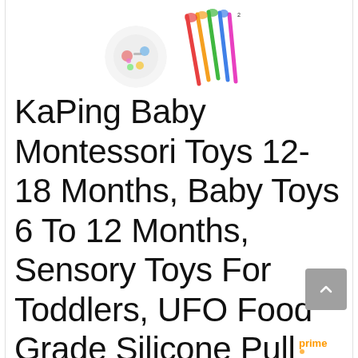[Figure (photo): Product images at top: a circular plate/toy image and colorful chopsticks/utensils image]
KaPing Baby Montessori Toys 12-18 Months, Baby Toys 6 To 12 Months, Sensory Toys For Toddlers, UFO Food Grade Silicone Pull Activity Toy, Travel Toys For 1 Year Old, First Birthday Gift For Boys Girls